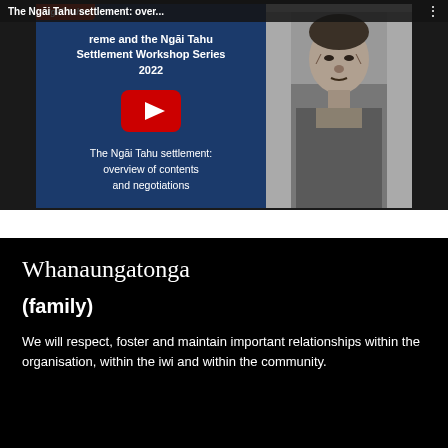[Figure (screenshot): YouTube video thumbnail for 'The Ngai Tahu settlement: overview of contents and negotiations' from the Ngai Tahu Settlement Workshop Series 2022. Left panel is dark blue with Ngai Tahu logo, workshop series title, YouTube play button and video caption text. Right panel shows a black and white historical photograph of an older Maori man seated.]
Whanaungatonga
(family)
We will respect, foster and maintain important relationships within the organisation, within the iwi and within the community.